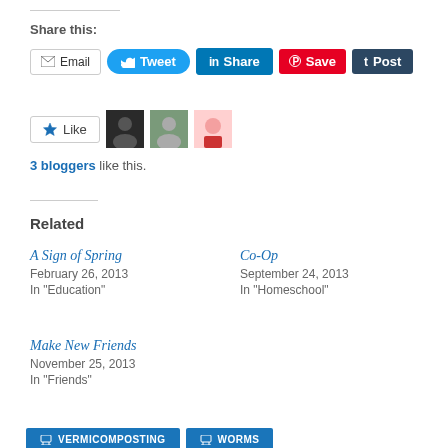Share this:
[Figure (screenshot): Social share buttons: Email, Tweet (Twitter), Share (LinkedIn), Save (Pinterest), Post (Tumblr)]
[Figure (screenshot): Like button with star icon and 3 blogger avatars]
3 bloggers like this.
Related
A Sign of Spring
February 26, 2013
In "Education"
Co-Op
September 24, 2013
In "Homeschool"
Make New Friends
November 25, 2013
In "Friends"
[Figure (screenshot): Category tag buttons: GARDENING, VERMICOMPOSTING (dark blue), and partial VERMICOMPOSTING, WORMS (light blue)]